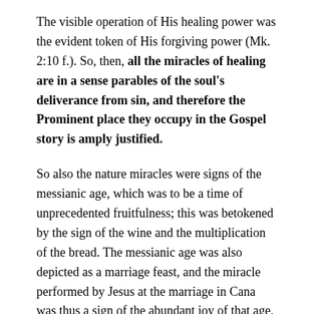The visible operation of His healing power was the evident token of His forgiving power (Mk. 2:10 f.). So, then, all the miracles of healing are in a sense parables of the soul's deliverance from sin, and therefore the Prominent place they occupy in the Gospel story is amply justified.
So also the nature miracles were signs of the messianic age, which was to be a time of unprecedented fruitfulness; this was betokened by the sign of the wine and the multiplication of the bread. The messianic age was also depicted as a marriage feast, and the miracle performed by Jesus at the marriage in Cana was thus a sign of the abundant joy of that age, a token that, as He and His disciples proclaimed, the kingdom of heaven had drawn near. It also signified that in spite of the proverb, 'The old is better' the new order which He came to